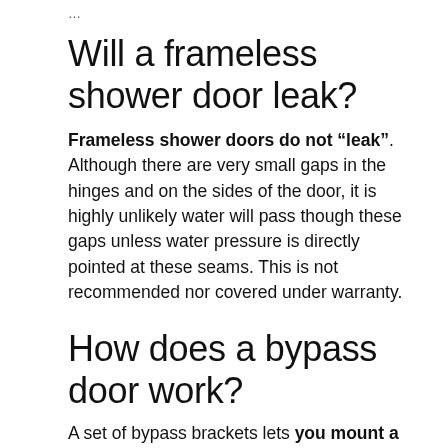...
Will a frameless shower door leak?
Frameless shower doors do not “leak”. Although there are very small gaps in the hinges and on the sides of the door, it is highly unlikely water will pass though these gaps unless water pressure is directly pointed at these seams. This is not recommended nor covered under warranty.
How does a bypass door work?
A set of bypass brackets lets you mount a second track in front of the first, in a